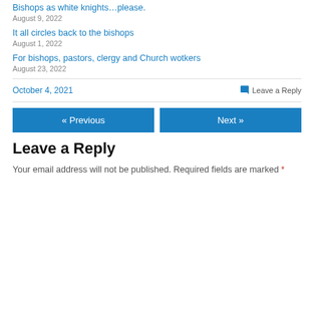Bishops as white knights…please.
August 9, 2022
It all circles back to the bishops
August 1, 2022
For bishops, pastors, clergy and Church wotkers
August 23, 2022
October 4, 2021
Leave a Reply
« Previous
Next »
Leave a Reply
Your email address will not be published. Required fields are marked *